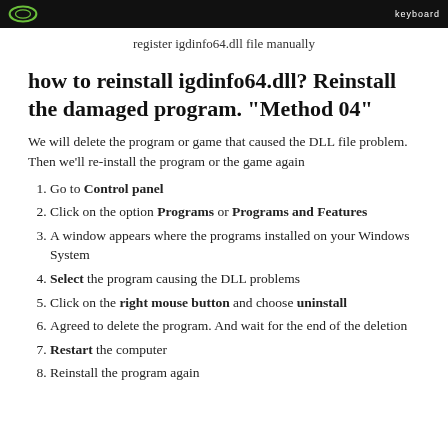[Figure (screenshot): Dark header banner with green circular logo on left and 'keyboard' text on right in white.]
register igdinfo64.dll file manually
how to reinstall igdinfo64.dll? Reinstall the damaged program. "Method 04"
We will delete the program or game that caused the DLL file problem. Then we'll re-install the program or the game again
Go to Control panel
Click on the option Programs or Programs and Features
A window appears where the programs installed on your Windows System
Select the program causing the DLL problems
Click on the right mouse button and choose uninstall
Agreed to delete the program. And wait for the end of the deletion
Restart the computer
Reinstall the program again